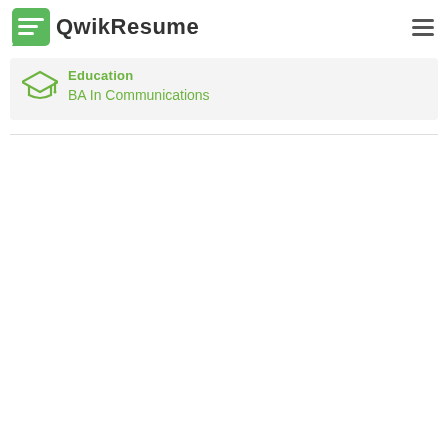QwikResume
Education
BA In Communications